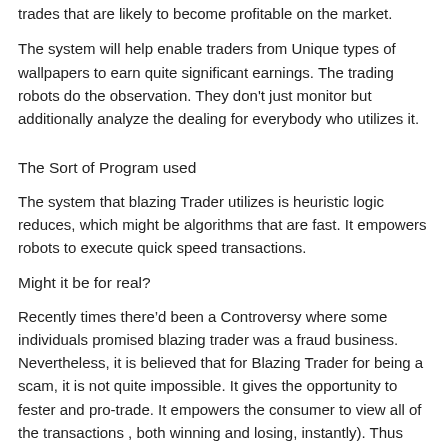trades that are likely to become profitable on the market.
The system will help enable traders from Unique types of wallpapers to earn quite significant earnings. The trading robots do the observation. They don't just monitor but additionally analyze the dealing for everybody who utilizes it.
The Sort of Program used
The system that blazing Trader utilizes is heuristic logic reduces, which might be algorithms that are fast. It empowers robots to execute quick speed transactions.
Might it be for real?
Recently times there'd been a Controversy where some individuals promised blazing trader was a fraud business. Nevertheless, it is believed that for Blazing Trader for being a scam, it is not quite impossible. It gives the opportunity to fester and pro-trade. It empowers the consumer to view all of the transactions, both winning and losing, instantly). Thus There's